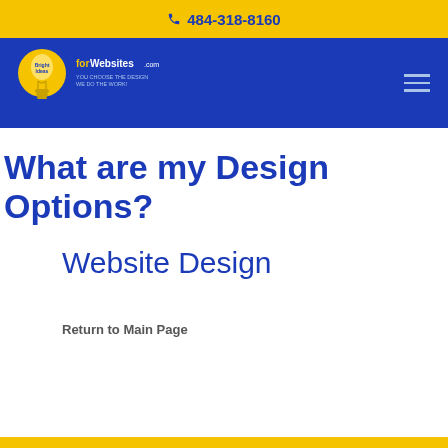484-318-8160
[Figure (logo): Bright Ideas for Websites logo with lightbulb icon and tagline]
What are my Design Options?
Website Design
Return to Main Page